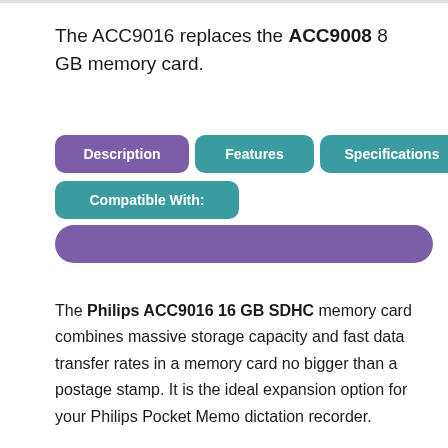The ACC9016 replaces the ACC9008 8 GB memory card.
[Figure (infographic): UI tab navigation bar showing tabs: Description (purple/active), Features (teal), Specifications (teal), Compatible With (teal), and a purple search/filter bar below]
The Philips ACC9016 16 GB SDHC memory card combines massive storage capacity and fast data transfer rates in a memory card no bigger than a postage stamp. It is the ideal expansion option for your Philips Pocket Memo dictation recorder.